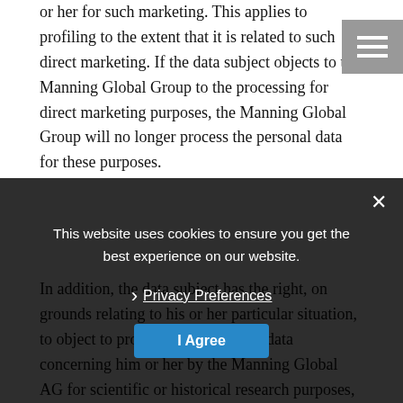or her for such marketing. This applies to profiling to the extent that it is related to such direct marketing. If the data subject objects to the Manning Global Group to the processing for direct marketing purposes, the Manning Global Group will no longer process the personal data for these purposes.
In addition, the data subject has the right, on grounds relating to his or her particular situation, to object to processing of personal data concerning him or her by the Manning Global AG for scientific or historical research purposes, or for statistical purposes pursuant to Article 89(1) of the GDPR, unless the processing is necessary for the performance of a task carried out for reasons of public interest.
In order to exercise the right to object, the data subject may contact any employee of the Manning Global AG. In addition, the data subject is free in the context of the use of information society services, and notwithstanding Directive 2002/58/EC, to use his or her right to object by automated means, using to use
[Figure (screenshot): Cookie consent overlay banner on dark semi-transparent background with text: 'This website uses cookies to ensure you get the best experience on our website.' with a 'Privacy Preferences' link and an 'I Agree' button. A close (X) button is in the top right. A hamburger menu icon is visible in the top right of the page.]